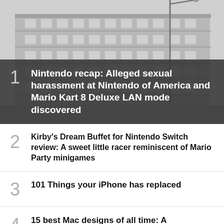[Figure (photo): Photo of a large modern multi-story commercial building (Nintendo of America headquarters) with a street lamp in the foreground, overcast sky]
1 Nintendo recap: Alleged sexual harassment at Nintendo of America and Mario Kart 8 Deluxe LAN mode discovered
2 Kirby's Dream Buffet for Nintendo Switch review: A sweet little racer reminiscent of Mario Party minigames
3 101 Things your iPhone has replaced
4 15 best Mac designs of all time: A retrospective